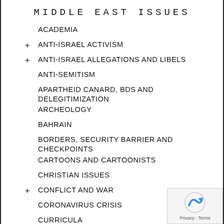MIDDLE EAST ISSUES
ACADEMIA
+ ANTI-ISRAEL ACTIVISM
+ ANTI-ISRAEL ALLEGATIONS AND LIBELS
ANTI-SEMITISM
APARTHEID CANARD, BDS AND DELEGITIMIZATION
ARCHEOLOGY
BAHRAIN
BORDERS, SECURITY BARRIER AND CHECKPOINTS
CARTOONS AND CARTOONISTS
CHRISTIAN ISSUES
+ CONFLICT AND WAR
CORONAVIRUS CRISIS
CURRICULA